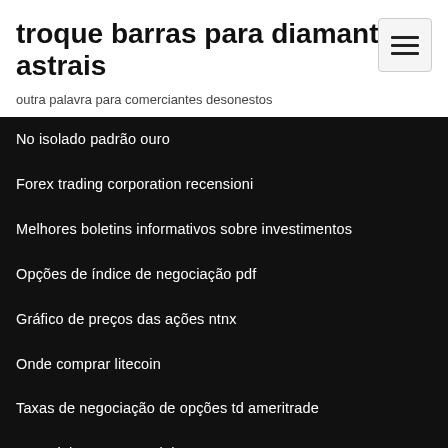troque barras para diamantes astrais
outra palavra para comerciantes desonestos
No isolado padrão ouro
Forex trading corporation recensioni
Melhores boletins informativos sobre investimentos
Opções de índice de negociação pdf
Gráfico de preços das ações ntnx
Onde comprar litecoin
Taxas de negociação de opções td ameritrade
Troca iphone 6s para iphone xr
Jogo de simulador do mercado de ações para pc download grátis